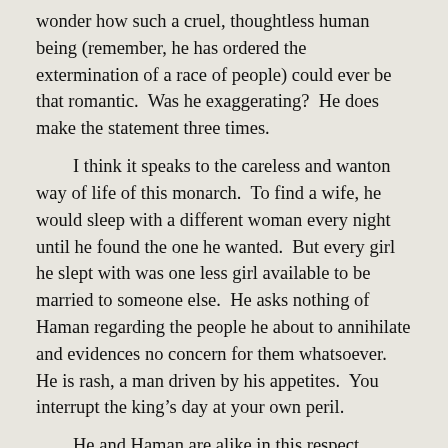wonder how such a cruel, thoughtless human being (remember, he has ordered the extermination of a race of people) could ever be that romantic.  Was he exaggerating?  He does make the statement three times.
I think it speaks to the careless and wanton way of life of this monarch.  To find a wife, he would sleep with a different woman every night until he found the one he wanted.  But every girl he slept with was one less girl available to be married to someone else.  He asks nothing of Haman regarding the people he about to annihilate and evidences no concern for them whatsoever.  He is rash, a man driven by his appetites.  You interrupt the king’s day at your own peril.
He and Haman are alike in this respect.  Haman has it all: wealth, family, honor, position and